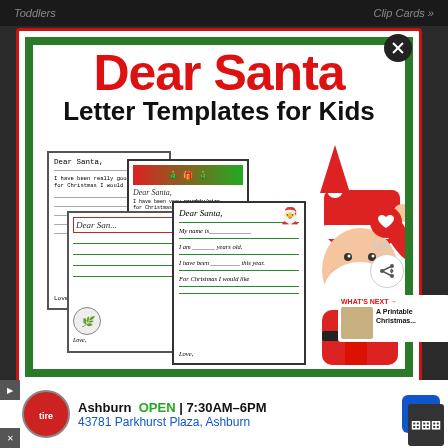Toddlers  |  Clip Cards
[Figure (screenshot): Modal popup showing 'Dear Santa Letter Templates for Kids' with preview images of letter templates and a Santa Claus illustration. Includes heart/share buttons showing 199 saves, a 'What's Next' panel for A Printable Christmas..., and a close button.]
Dear Santa
Letter Templates for Kids
Dear Santa,
I have been really good this year...
For Christmas I would like
Dear Santa,
I have been very naughty/nice...
For Christmas plea...
Dear Santa,
My name is_______
I am ______ years old.
I have been __________ this year.
For Christmas I would like
WHAT'S NEXT → A Printable Christmas...
199
Ashburn  OPEN | 7:30AM–6PM
43781 Parkhurst Plaza, Ashburn